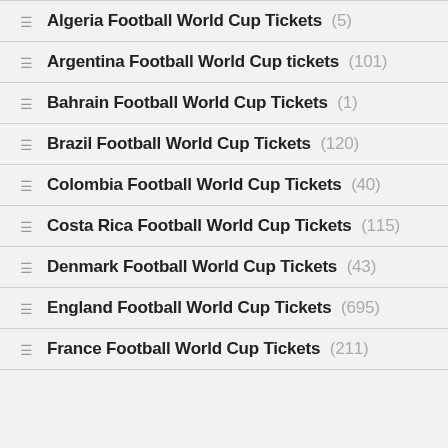Algeria Football World Cup Tickets (5)
Argentina Football World Cup tickets (101)
Bahrain Football World Cup Tickets (1)
Brazil Football World Cup Tickets (120)
Colombia Football World Cup Tickets (40)
Costa Rica Football World Cup Tickets (115)
Denmark Football World Cup Tickets (43)
England Football World Cup Tickets (695)
France Football World Cup Tickets (211)